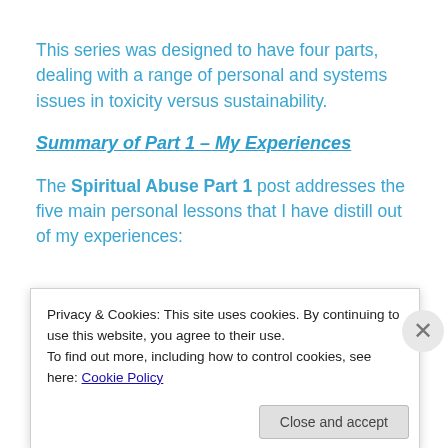This series was designed to have four parts, dealing with a range of personal and systems issues in toxicity versus sustainability.
Summary of Part 1 – My Experiences
The Spiritual Abuse Part 1 post addresses the five main personal lessons that I have distill out of my experiences:
Privacy & Cookies: This site uses cookies. By continuing to use this website, you agree to their use.
To find out more, including how to control cookies, see here: Cookie Policy